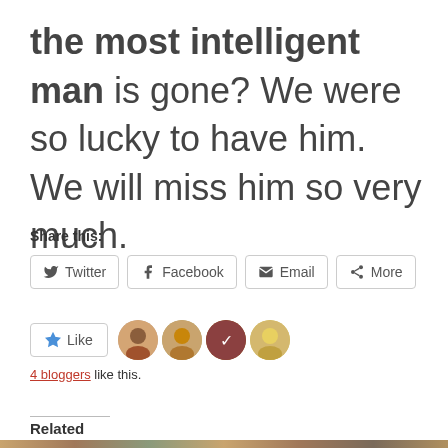the most intelligent man is gone? We were so lucky to have him. We will miss him so very much.
Share this:
Twitter Facebook Email More
Like
4 bloggers like this.
Related